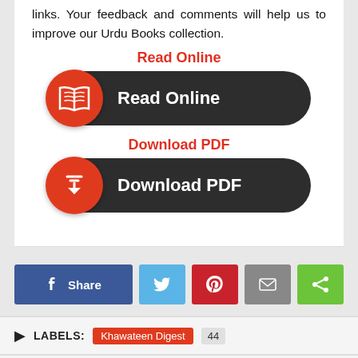links. Your feedback and comments will help us to improve our Urdu Books collection.
Read Online
[Figure (other): Red circle icon with open book symbol next to dark pill-shaped button with text 'Read Online']
Download PDF
[Figure (other): Red circle icon with download arrow symbol next to dark pill-shaped button with text 'Download PDF']
[Figure (other): Social sharing buttons: Facebook Share, Twitter, Pinterest, Email, Share]
LABELS: Khawateen Digest 44
SHARE: